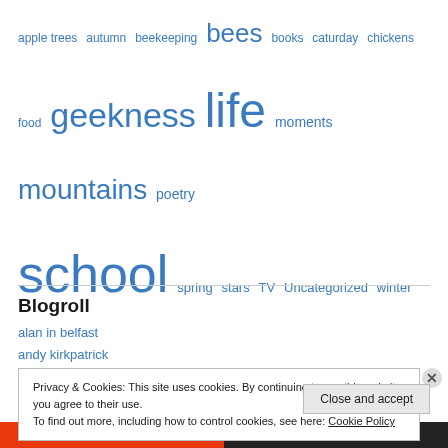[Figure (infographic): Tag cloud with terms in various font sizes and blue color: apple trees, autumn, beekeeping, bees (large), books, caturday, chickens, food, geekness (large), life (largest), moments, mountains, poetry, school (very large), spring, stars, TV, Uncategorized, winter]
Blogroll
alan in belfast
andy kirkpatrick
averagejoe
bad science
Privacy & Cookies: This site uses cookies. By continuing to use this website, you agree to their use.
To find out more, including how to control cookies, see here: Cookie Policy
Close and accept
All in One Free App   DuckDuckGo